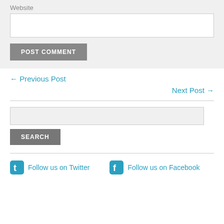Website
POST COMMENT
← Previous Post
Next Post →
SEARCH
Follow us on Twitter
Follow us on Facebook